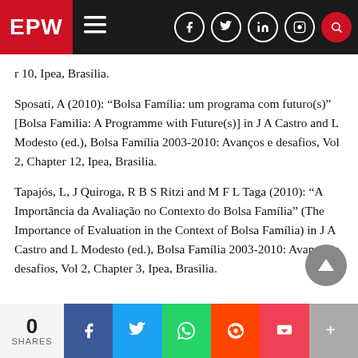EPW
r 10, Ipea, Brasilia.
Sposati, A (2010): “Bolsa Família: um programa com futuro(s)” [Bolsa Familia: A Programme with Future(s)] in J A Castro and L Modesto (ed.), Bolsa Família 2003-2010: Avanços e desafios, Vol 2, Chapter 12, Ipea, Brasilia.
Tapajós, L, J Quiroga, R B S Ritzi and M F L Taga (2010): “A Importância da Avaliação no Contexto do Bolsa Família” (The Importance of Evaluation in the Context of Bolsa Família) in J A Castro and L Modesto (ed.), Bolsa Família 2003-2010: Avanços e desafios, Vol 2, Chapter 3, Ipea, Brasilia.
0 SHARES